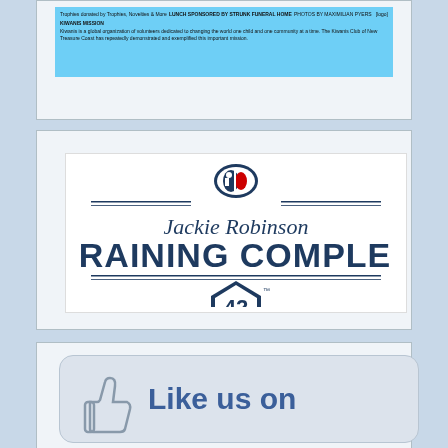[Figure (infographic): Top card with light blue banner containing small text about Kiwanis organization event information including trophies, lunch sponsorship, and Kiwanis mission statement]
[Figure (logo): Jackie Robinson Training Complex logo with MLB logo at top, script 'Jackie Robinson' text, bold 'TRAINING COMPLEX' text, and home plate shape with number 42, all in dark navy blue]
[Figure (infographic): Partial view of a 'Like us on Facebook' button with thumbs up icon and blue text on light gray rounded rectangle background]